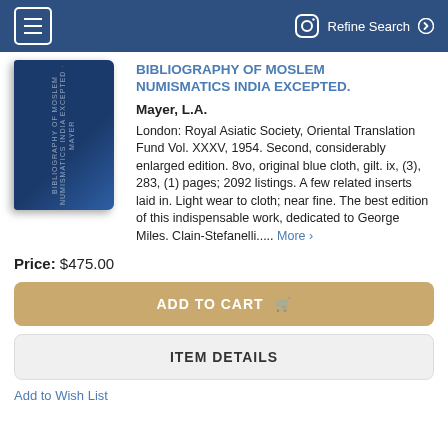Refine Search
BIBLIOGRAPHY OF MOSLEM NUMISMATICS INDIA EXCEPTED.
Mayer, L.A.
London: Royal Asiatic Society, Oriental Translation Fund Vol. XXXV, 1954. Second, considerably enlarged edition. 8vo, original blue cloth, gilt. ix, (3), 283, (1) pages; 2092 listings. A few related inserts laid in. Light wear to cloth; near fine. The best edition of this indispensable work, dedicated to George Miles. Clain-Stefanelli..... More
Price: $475.00
ADD TO CART
ITEM DETAILS
Add to Wish List